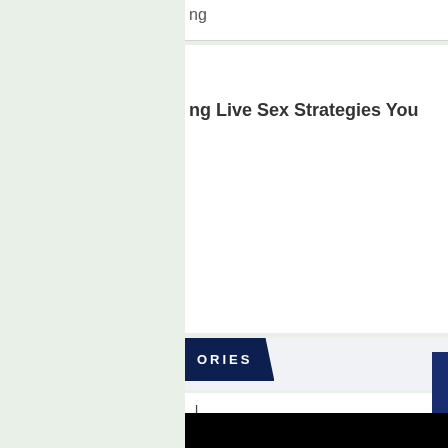ng Live Sex Strategies You
ORIES
l
ess
Improvement
Estate